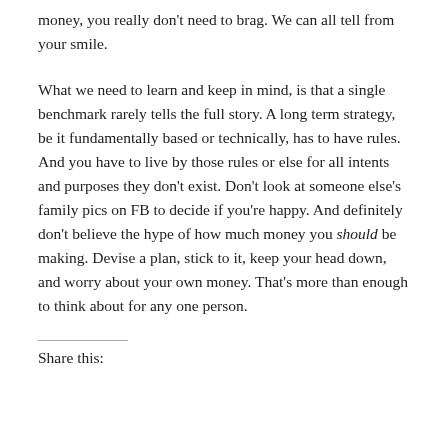money, you really don't need to brag. We can all tell from your smile.
What we need to learn and keep in mind, is that a single benchmark rarely tells the full story. A long term strategy, be it fundamentally based or technically, has to have rules. And you have to live by those rules or else for all intents and purposes they don't exist. Don't look at someone else's family pics on FB to decide if you're happy. And definitely don't believe the hype of how much money you should be making. Devise a plan, stick to it, keep your head down, and worry about your own money. That's more than enough to think about for any one person.
Share this: